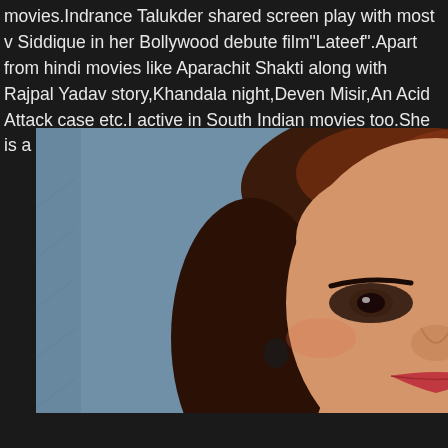movies.Indrance Talukder shared screen play with most v Siddique in her Bollywood debute film"Lateef".Apart from hindi movies like Aparachit Shakti along with Rajpal Yadav story,Khandala night,Deven Misir,An Acid Attack case etc.I active in South Indian movies too.She is a popular choice o
[Figure (photo): Portrait photo of a woman with styled dark wavy hair with reddish highlights, wearing a black outfit with pink trim. She has dramatic eye makeup and is posed near a wooden door frame against a blue background.]